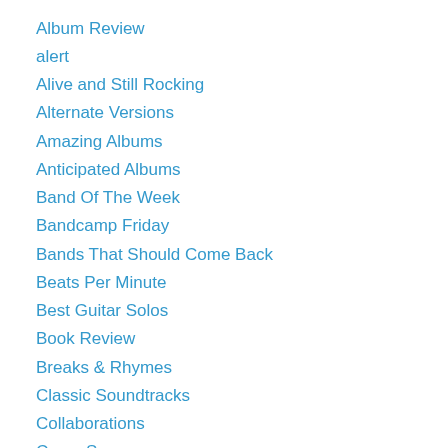Album Review
alert
Alive and Still Rocking
Alternate Versions
Amazing Albums
Anticipated Albums
Band Of The Week
Bandcamp Friday
Bands That Should Come Back
Beats Per Minute
Best Guitar Solos
Book Review
Breaks & Rhymes
Classic Soundtracks
Collaborations
Cover Songs
Cover Thursday
Deep Cuts
Dream Tours
End Of Album Songs